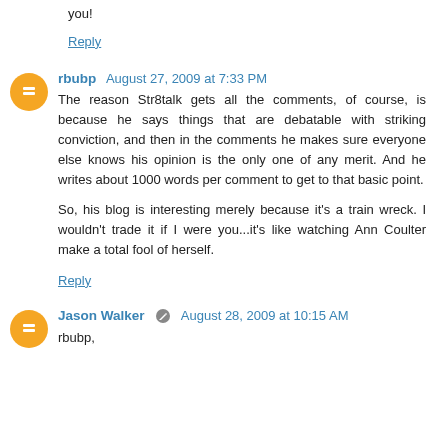you!
Reply
rbubp  August 27, 2009 at 7:33 PM
The reason Str8talk gets all the comments, of course, is because he says things that are debatable with striking conviction, and then in the comments he makes sure everyone else knows his opinion is the only one of any merit. And he writes about 1000 words per comment to get to that basic point.

So, his blog is interesting merely because it's a train wreck. I wouldn't trade it if I were you...it's like watching Ann Coulter make a total fool of herself.
Reply
Jason Walker  August 28, 2009 at 10:15 AM
rbubp,